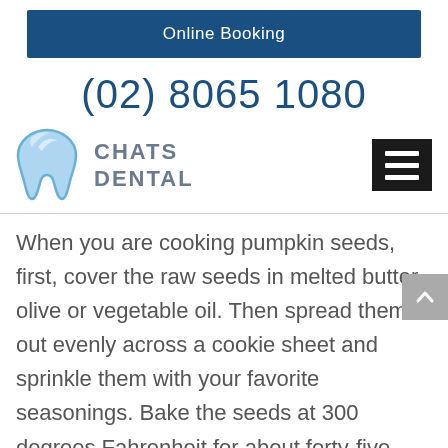Online Booking
(02) 8065 1080
[Figure (logo): Chats Dental logo with a light blue tooth icon and the text CHATS DENTAL in grey]
When you are cooking pumpkin seeds, first, cover the raw seeds in melted butter, olive or vegetable oil. Then spread them out evenly across a cookie sheet and sprinkle them with your favorite seasonings. Bake the seeds at 300 degrees Fahrenheit for about forty-five minutes or until golden brown.